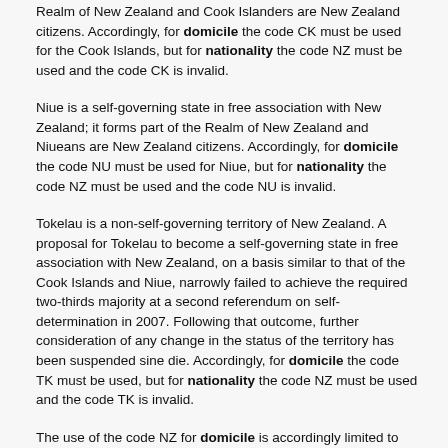Realm of New Zealand and Cook Islanders are New Zealand citizens. Accordingly, for domicile the code CK must be used for the Cook Islands, but for nationality the code NZ must be used and the code CK is invalid.
Niue is a self-governing state in free association with New Zealand; it forms part of the Realm of New Zealand and Niueans are New Zealand citizens. Accordingly, for domicile the code NU must be used for Niue, but for nationality the code NZ must be used and the code NU is invalid.
Tokelau is a non-self-governing territory of New Zealand. A proposal for Tokelau to become a self-governing state in free association with New Zealand, on a basis similar to that of the Cook Islands and Niue, narrowly failed to achieve the required two-thirds majority at a second referendum on self-determination in 2007. Following that outcome, further consideration of any change in the status of the territory has been suspended sine die. Accordingly, for domicile the code TK must be used, but for nationality the code NZ must be used and the code TK is invalid.
The use of the code NZ for domicile is accordingly limited to New Zealand only.
IO: British Indian Ocean Territory (BIOT)